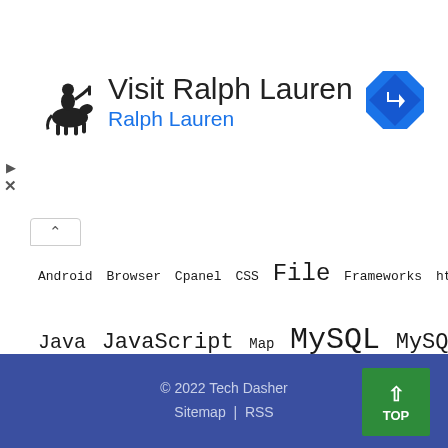[Figure (illustration): Ralph Lauren polo player logo (silhouette of a polo player on horseback)]
Visit Ralph Lauren
Ralph Lauren
[Figure (illustration): Blue diamond-shaped navigation/directions icon with a right-turn arrow]
Android Browser Cpanel CSS File Frameworks htaccess HTML HTTPS ICCID Java JavaScript Map MySQL MySQLi Pagination PHP rest SIM soap SSL Upload Web webservice Webservices Windows
© 2022 Tech Dasher
Sitemap | RSS